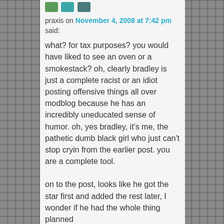[Figure (other): User avatar icons - green, teal, and dark teal small colored rectangles]
praxis on November 4, 2008 at 7:42 pm said:
what? for tax purposes? you would have liked to see an oven or a smokestack? oh, clearly bradley is just a complete racist or an idiot posting offensive things all over modblog because he has an incredibly uneducated sense of humor. oh, yes bradley, it's me, the pathetic dumb black girl who just can't stop cryin from the earlier post. you are a complete tool.

on to the post, looks like he got the star first and added the rest later, I wonder if he had the whole thing planned